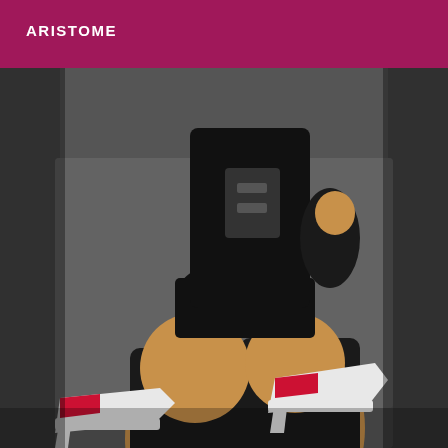ARISTOME
[Figure (photo): Person wearing black outfit with red and white high heels, kneeling on a dark sofa, viewed from behind.]